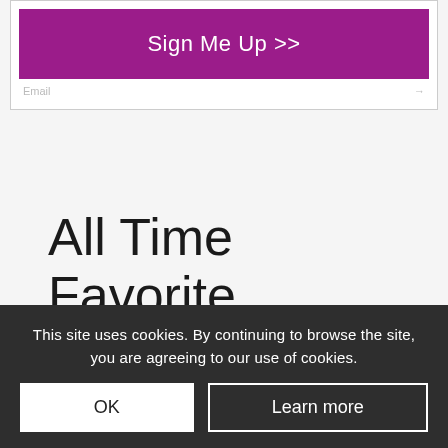[Figure (screenshot): Sign Me Up button with purple background and a partially visible sign-up form box]
All Time Favorite Posts
How to manifest like a pro
369 views
This site uses cookies. By continuing to browse the site, you are agreeing to our use of cookies.
OK
Learn more